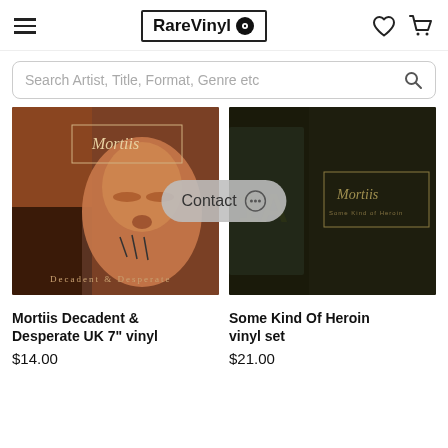RareVinyl
Search Artist, Title, Format, Genre etc
[Figure (photo): Album cover for Mortiis Decadent & Desperate - dark brownish-orange fantasy creature face with closed eyes, ornate text overlay]
[Figure (photo): Album cover for Mortiis Some Kind Of Heroin - dark green/black tones with ornate Mortiis logo text overlay]
Mortiis Decadent & Desperate UK 7" vinyl
$14.00
Some Kind Of Heroin vinyl set
$21.00